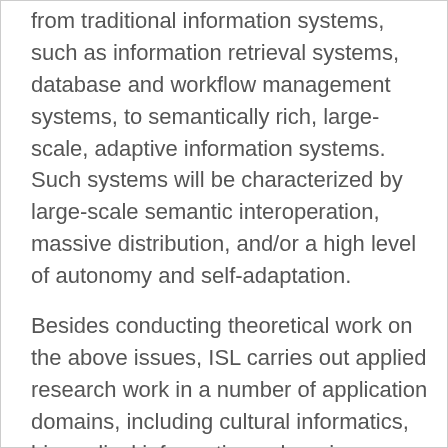from traditional information systems, such as information retrieval systems, database and workflow management systems, to semantically rich, large-scale, adaptive information systems. Such systems will be characterized by large-scale semantic interoperation, massive distribution, and/or a high level of autonomy and self-adaptation.
Besides conducting theoretical work on the above issues, ISL carries out applied research work in a number of application domains, including cultural informatics, biomedical informatics, e-learning, e-commerce and IT security. Work in these domains has a strong